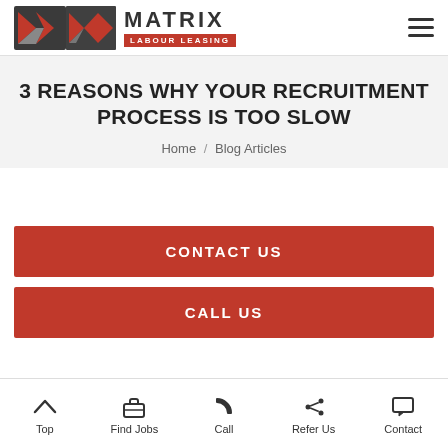MATRIX LABOUR LEASING
3 REASONS WHY YOUR RECRUITMENT PROCESS IS TOO SLOW
Home / Blog Articles
CONTACT US
CALL US
Top | Find Jobs | Call | Refer Us | Contact